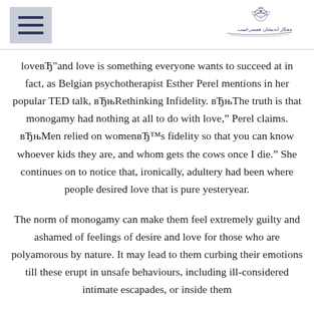[Menu icon] [Logo: Arabic text and decorative emblem]
loveBh”and love is something everyone wants to succeed at in fact, as Belgian psychotherapist Esther Perel mentions in her popular TED talk, BhbRethinking Infidelity. BhbThe truth is that monogamy had nothing at all to do with love,” Perel claims. BhbMen relied on womenBh™s fidelity so that you can know whoever kids they are, and whom gets the cows once I die.” She continues on to notice that, ironically, adultery had been where people desired love that is pure yesteryear.
The norm of monogamy can make them feel extremely guilty and ashamed of feelings of desire and love for those who are polyamorous by nature. It may lead to them curbing their emotions till these erupt in unsafe behaviours, including ill-considered intimate escapades, or inside them